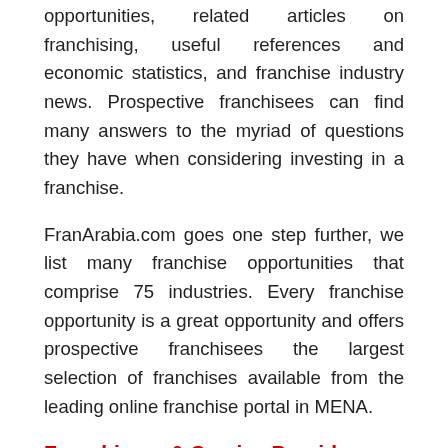opportunities, related articles on franchising, useful references and economic statistics, and franchise industry news. Prospective franchisees can find many answers to the myriad of questions they have when considering investing in a franchise.
FranArabia.com goes one step further, we list many franchise opportunities that comprise 75 industries. Every franchise opportunity is a great opportunity and offers prospective franchisees the largest selection of franchises available from the leading online franchise portal in MENA.
Franchisors & Service Providers
FranArabia.com advertisers will be getting one of the best values available on the web today. By advertising on our portal, every program advertiser